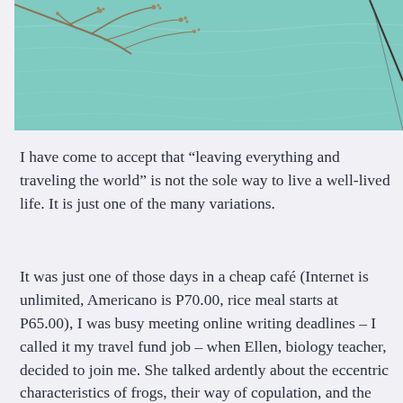[Figure (photo): Photograph of a turquoise/teal colored body of water with dried plant branches hanging over it from the left and a fishing rod or pole visible on the right side. The water has a calm, rippled surface.]
I have come to accept that “leaving everything and traveling the world” is not the sole way to live a well-lived life. It is just one of the many variations.
It was just one of those days in a cheap café (Internet is unlimited, Americano is P70.00, rice meal starts at P65.00), I was busy meeting online writing deadlines – I called it my travel fund job – when Ellen, biology teacher, decided to join me. She talked ardently about the eccentric characteristics of frogs, their way of copulation, and the female frog’s strength and vulnerability.